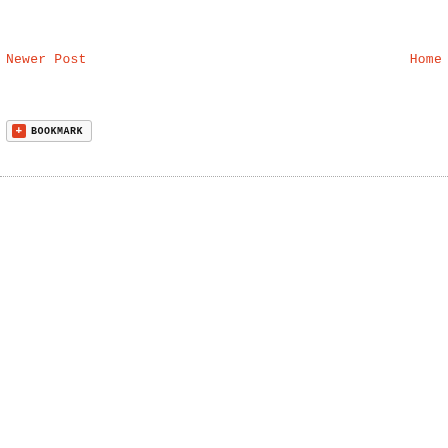Newer Post
Home
[Figure (other): Bookmark button with orange plus icon and text BOOKMARK]
...dotted divider line...